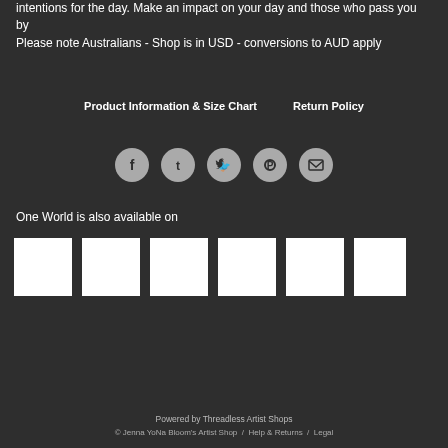intentions for the day. Make an impact on your day and those who pass you by
Please note Australians - Shop is in USD - conversions to AUD apply
Product Information & Size Chart    Return Policy
[Figure (infographic): Five circular social media icons in a row: Facebook, Tumblr, Twitter, Pinterest, Email]
One World is also available on
[Figure (infographic): Six white square thumbnail images in a row]
Powered by Threadless Artist Shops
© Jenna YoNa Bloom's Artist Shop / Help & Returns / Legal